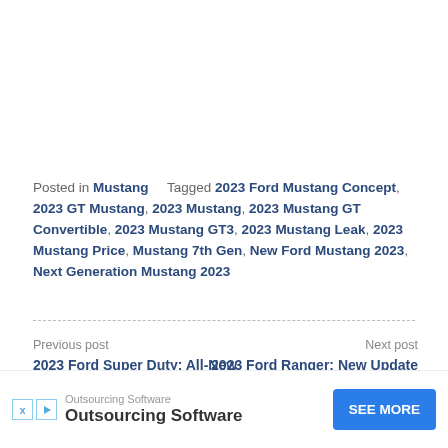Posted in Mustang   Tagged 2023 Ford Mustang Concept, 2023 GT Mustang, 2023 Mustang, 2023 Mustang GT Convertible, 2023 Mustang GT3, 2023 Mustang Leak, 2023 Mustang Price, Mustang 7th Gen, New Ford Mustang 2023, Next Generation Mustang 2023
Previous post
2023 Ford Super Duty: All-New Super Duty Looks Incredible
Next post
2023 Ford Ranger: New Update Ford Ranger V6 Petrol Engine Revie…
[Figure (other): Advertisement banner: Outsourcing Software with SEE MORE button]